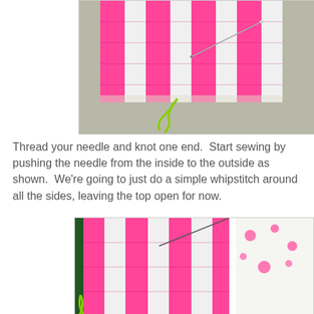[Figure (photo): Close-up photo of pink and white striped fabric being sewn with a needle and bright green thread, on a grey surface]
Thread your needle and knot one end.  Start sewing by pushing the needle from the inside to the outside as shown.  We're going to just do a simple whipstitch around all the sides, leaving the top open for now.
[Figure (photo): Close-up photo of pink and white striped fabric with polka dot lining being sewn with whipstitch using green thread along the edge, showing the needle and stitching detail]